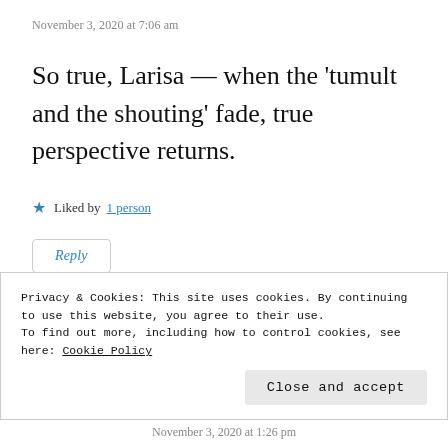November 3, 2020 at 7:06 am
So true, Larisa — when the 'tumult and the shouting' fade, true perspective returns.
★ Liked by 1 person
Reply
Privacy & Cookies: This site uses cookies. By continuing to use this website, you agree to their use.
To find out more, including how to control cookies, see here: Cookie Policy
Close and accept
November 3, 2020 at 1:26 pm